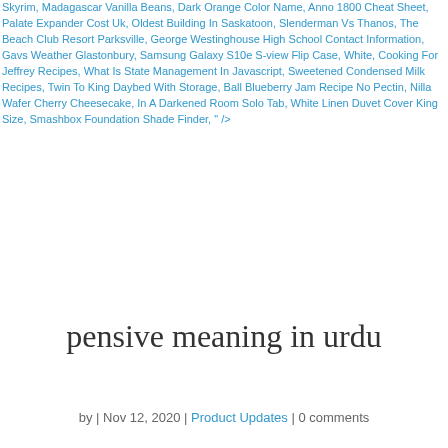Skyrim, Madagascar Vanilla Beans, Dark Orange Color Name, Anno 1800 Cheat Sheet, Palate Expander Cost Uk, Oldest Building In Saskatoon, Slenderman Vs Thanos, The Beach Club Resort Parksville, George Westinghouse High School Contact Information, Gavs Weather Glastonbury, Samsung Galaxy S10e S-view Flip Case, White, Cooking For Jeffrey Recipes, What Is State Management In Javascript, Sweetened Condensed Milk Recipes, Twin To King Daybed With Storage, Ball Blueberry Jam Recipe No Pectin, Nilla Wafer Cherry Cheesecake, In A Darkened Room Solo Tab, White Linen Duvet Cover King Size, Smashbox Foundation Shade Finder, " />
pensive meaning in urdu
by | Nov 12, 2020 | Product Updates | 0 comments